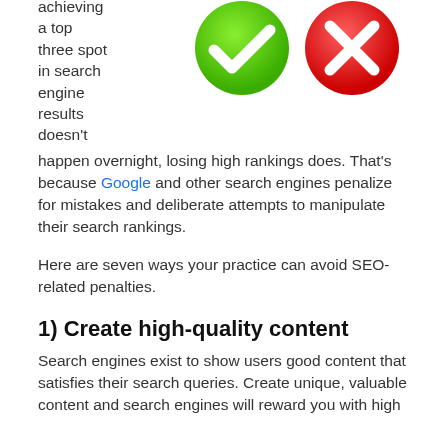achieving a top three spot in search engine results doesn't happen overnight, losing high rankings does. That's because Google and other search engines penalize for mistakes and deliberate attempts to manipulate their search rankings.
[Figure (illustration): Two circular icons side by side: a green circle with a white checkmark on the left, and a red circle with a white X on the right.]
Here are seven ways your practice can avoid SEO-related penalties.
1) Create high-quality content
Search engines exist to show users good content that satisfies their search queries. Create unique, valuable content and search engines will reward you with high